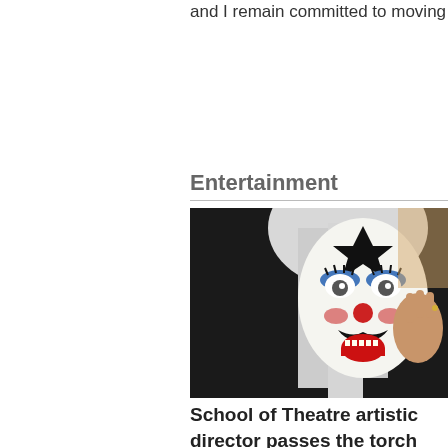and I remain committed to moving ou
Entertainment
[Figure (photo): Person wearing theatrical clown face makeup with white/black star pattern, red nose accents, blue eye makeup, and long white/grey hair, smiling and holding the mask]
School of Theatre artistic director passes the torch after 20 years